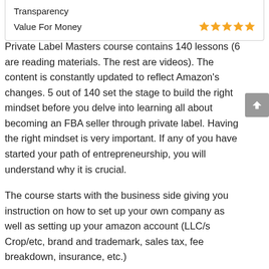| Transparency |  |
| Value For Money | ★★★★★ |
Private Label Masters course contains 140 lessons (6 are reading materials. The rest are videos). The content is constantly updated to reflect Amazon's changes. 5 out of 140 set the stage to build the right mindset before you delve into learning all about becoming an FBA seller through private label. Having the right mindset is very important. If any of you have started your path of entrepreneurship, you will understand why it is crucial.
The course starts with the business side giving you instruction on how to set up your own company as well as setting up your amazon account (LLC/s Crop/etc, brand and trademark, sales tax, fee breakdown, insurance, etc.)
Then you move into product research where you'll get detailed instruction on how to find your 1st product. You'll learn what to look for, how to identify if the market is too